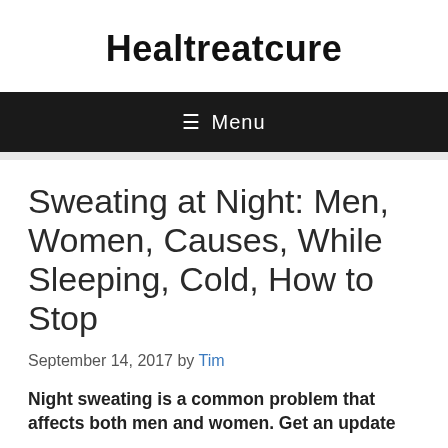Healtreatcure
≡ Menu
Sweating at Night: Men, Women, Causes, While Sleeping, Cold, How to Stop
September 14, 2017 by Tim
Night sweating is a common problem that affects both men and women. Get an update